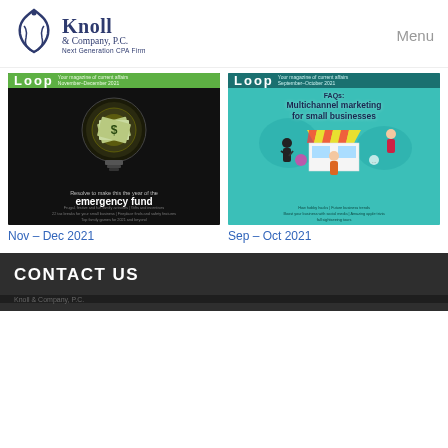Knoll & Company, P.C. — Next Generation CPA Firm | Menu
[Figure (illustration): Magazine cover: Loop newsletter, Nov-Dec 2021. Dark background with glowing lightbulb containing dollar bills. Text: 'Resolve to make this the year of the emergency fund']
Nov – Dec 2021
[Figure (illustration): Magazine cover: Loop newsletter, Sep-Oct 2021. Teal background with isometric illustration of small business kiosk and people. Text: 'FAQs: Multichannel marketing for small businesses']
Sep – Oct 2021
CONTACT US
Knoll & Company, P.C.